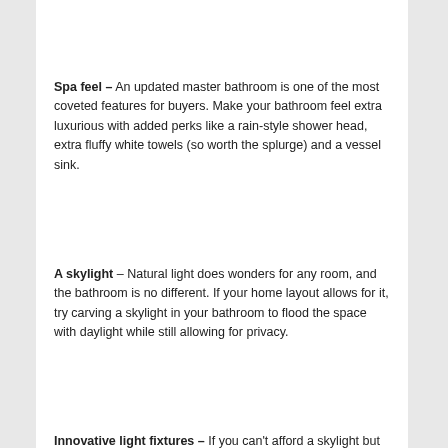Spa feel – An updated master bathroom is one of the most coveted features for buyers. Make your bathroom feel extra luxurious with added perks like a rain-style shower head, extra fluffy white towels (so worth the splurge) and a vessel sink.
A skylight – Natural light does wonders for any room, and the bathroom is no different. If your home layout allows for it, try carving a skylight in your bathroom to flood the space with daylight while still allowing for privacy.
Innovative light fixtures – If you can't afford a skylight but still crave a well-lit bathroom, mix multiple light sources to create a balanced lighting plan. Consider recessed ceiling lights, a four-